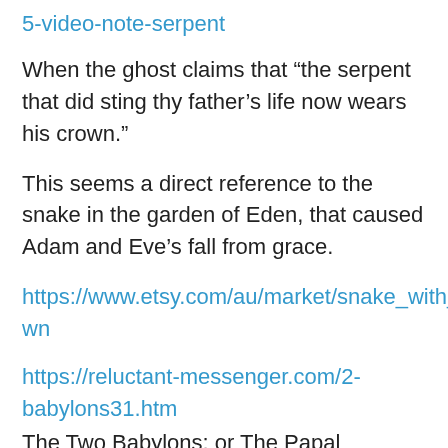5-video-note-serpent
When the ghost claims that “the serpent that did sting thy father’s life now wears his crown.”
This seems a direct reference to the snake in the garden of Eden, that caused Adam and Eve’s fall from grace.
https://www.etsy.com/au/market/snake_with_crown
https://reluctant-messenger.com/2-babylons31.htm
The Two Babylons: or The Papal Worship Proved to be the Worship of Nimrod and His Wife … “was only a large snake; ” * and the context shows that this is the very case here; for